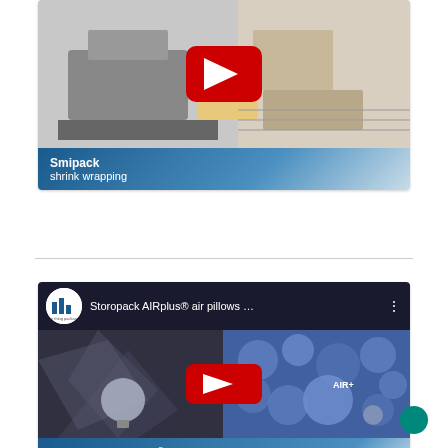[Figure (screenshot): YouTube video thumbnail for Smipack shrink wrapping showing packaging machines and products with a red YouTube play button overlay]
Smipack shrink wrapping
[Figure (screenshot): YouTube video thumbnail for Storopack AIRplus air pillows showing air cushion packaging with a red YouTube play button overlay, with channel logo and title header]
Storopack AIRplus® air pillows